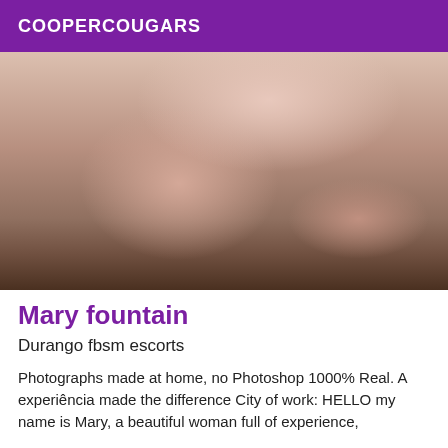COOPERCOUGARS
[Figure (photo): Close-up photo of a person lying on a white towel on a wooden parquet floor]
Mary fountain
Durango fbsm escorts
Photographs made at home, no Photoshop 1000% Real. A experiência made the difference City of work: HELLO my name is Mary, a beautiful woman full of experience,